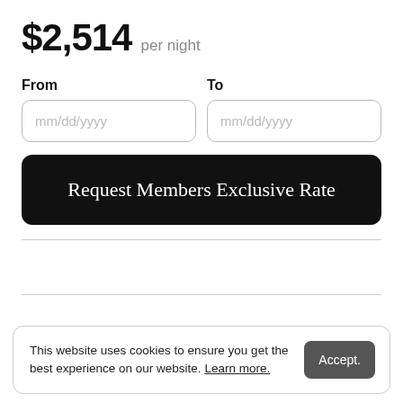$2,514 per night
From
mm/dd/yyyy
To
mm/dd/yyyy
Request Members Exclusive Rate
This website uses cookies to ensure you get the best experience on our website. Learn more.
Accept.